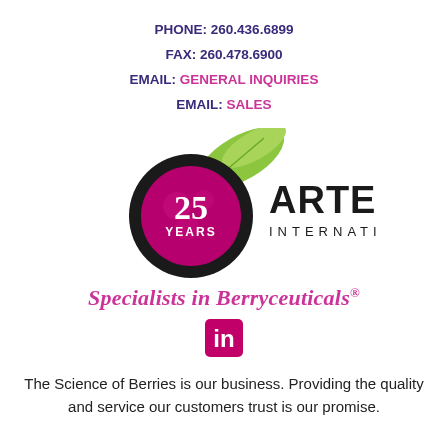PHONE: 260.436.6899
FAX: 260.478.6900
EMAIL: GENERAL INQUIRIES
EMAIL: SALES
[Figure (logo): Artemis International logo with 25 Years badge, green leaf, and black circle. Text: ARTEMIS INTERNATIONAL. Tagline: Specialists in Berryceuticals®]
[Figure (logo): LinkedIn icon in magenta/pink square]
The Science of Berries is our business. Providing the quality and service our customers trust is our promise.